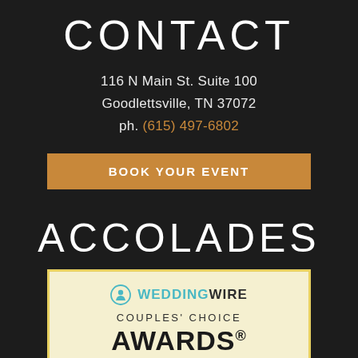CONTACT
116 N Main St. Suite 100
Goodlettsville, TN 37072
ph. (615) 497-6802
BOOK YOUR EVENT
ACCOLADES
[Figure (logo): WeddingWire Couples' Choice Awards badge with five gold stars on a cream/yellow background]